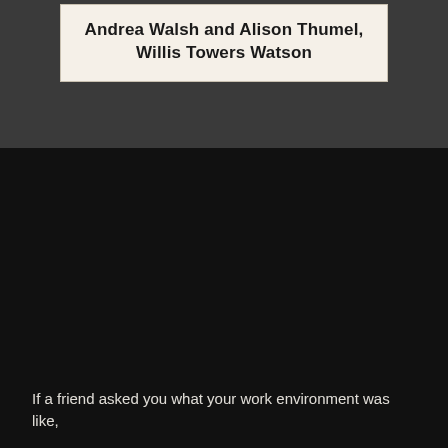Andrea Walsh and Alison Thumel, Willis Towers Watson
If a friend asked you what your work environment was like,